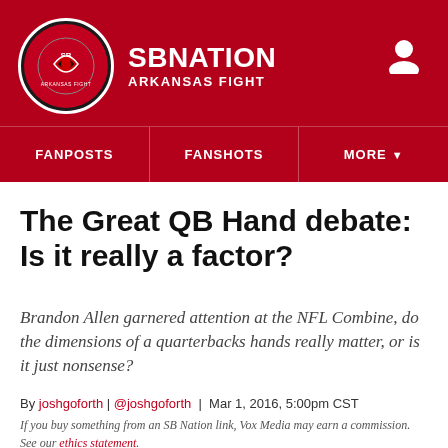SB NATION — ARKANSAS FIGHT
FANPOSTS | FANSHOTS | MORE
The Great QB Hand debate: Is it really a factor?
Brandon Allen garnered attention at the NFL Combine, do the dimensions of a quarterbacks hands really matter, or is it just nonsense?
By joshgoforth | @joshgoforth | Mar 1, 2016, 5:00pm CST
If you buy something from an SB Nation link, Vox Media may earn a commission. See our ethics statement.